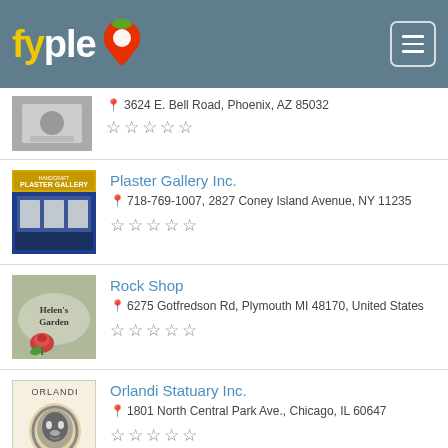[Figure (screenshot): Fyple business directory app header with logo and menu button]
3624 E. Bell Road, Phoenix, AZ 85032
★★★★★ (empty stars)
Plaster Gallery Inc.
718-769-1007, 2827 Coney Island Avenue, NY 11235
★★★★★ (empty stars)
Rock Shop
6275 Gotfredson Rd, Plymouth MI 48170, United States
★★★★★ (empty stars)
Orlandi Statuary Inc.
1801 North Central Park Ave., Chicago, IL 60647
★★★★★ (empty stars)